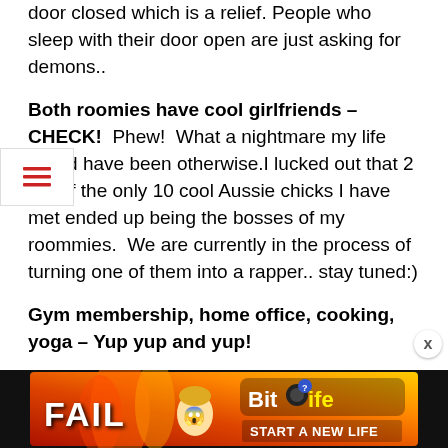door closed which is a relief. People who sleep with their door open are just asking for demons..
Both roomies have cool girlfriends – CHECK!  Phew!  What a nightmare my life would have been otherwise.I lucked out that 2 out of the only 10 cool Aussie chicks I have met ended up being the bosses of my roommies.  We are currently in the process of turning one of them into a rapper.. stay tuned:)
Gym membership, home office, cooking, yoga – Yup yup and yup!
My life really is back to normal, it is as if I am not even in a foreign country anymore. But with this sense of settlement comes my normal life stresses and problems that I had back in the states. Still in need of money… Still looking for a guy to keep my interest for longer than it took me to write this sentence.  Still on the hunt to
[Figure (screenshot): Advertisement banner for BitLife mobile game with 'FAIL' text, cartoon character, flames, and 'START A NEW LIFE' text]